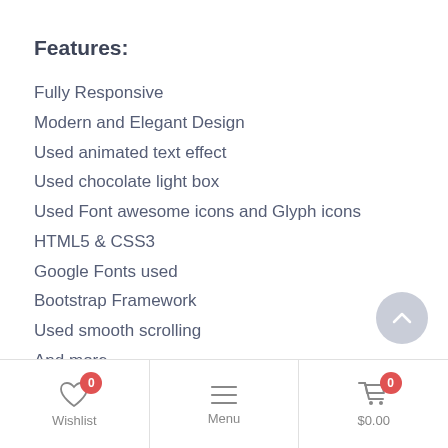Features:
Fully Responsive
Modern and Elegant Design
Used animated text effect
Used chocolate light box
Used Font awesome icons and Glyph icons
HTML5 & CSS3
Google Fonts used
Bootstrap Framework
Used smooth scrolling
And more…
Images:
Pixabay